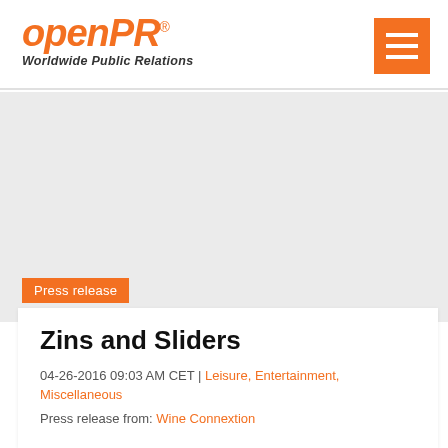openPR® Worldwide Public Relations
[Figure (logo): openPR logo in orange italic bold font with registered trademark symbol, tagline 'Worldwide Public Relations' below]
[Figure (other): Orange hamburger menu button (three white horizontal bars on orange square background)]
Press release
Zins and Sliders
04-26-2016 09:03 AM CET | Leisure, Entertainment, Miscellaneous
Press release from: Wine Connextion